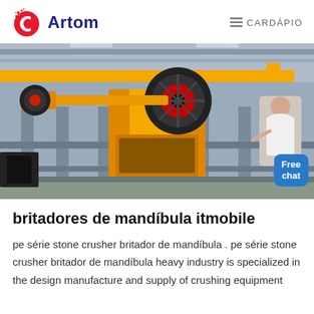Artom | CARDÁPIO
[Figure (photo): Industrial jaw crusher machine (yellow/orange colored) inside a factory/warehouse setting. A 'Free chat' badge is overlaid in the bottom-right corner.]
britadores de mandíbula itmobile
pe série stone crusher britador de mandíbula . pe série stone crusher britador de mandíbula heavy industry is specialized in the design manufacture and supply of crushing equipment